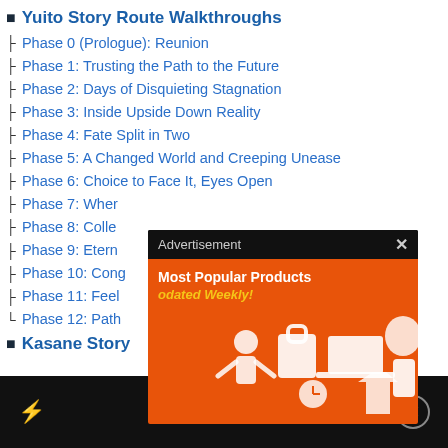Yuito Story Route Walkthroughs
Phase 0 (Prologue): Reunion
Phase 1: Trusting the Path to the Future
Phase 2: Days of Disquieting Stagnation
Phase 3: Inside Upside Down Reality
Phase 4: Fate Split in Two
Phase 5: A Changed World and Creeping Unease
Phase 6: Choice to Face It, Eyes Open
Phase 7: Wher...
Phase 8: Colle...
Phase 9: Etern...
Phase 10: Con...g
Phase 11: Feel...
Phase 12: Path...
Kasane Story...
[Figure (screenshot): Advertisement overlay with black header bar reading 'Advertisement' and an X close button, orange background showing 'Most Popular Products' and 'odated Weekly!' text with product icons]
lightning bolt icon, [] brackets, X close button on black bar